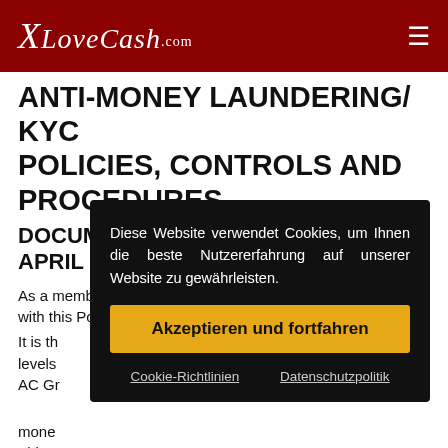XLoveCash.com
ANTI-MONEY LAUNDERING/ KYC POLICIES, CONTROLS AND PROCEDURES
DOCUMENT UPDATED THE 19 TH APRIL 2021
As a member of the AC Group, will also act in accordance with this Policy Rule as laid down in this Group Policy AML/
It is th levels AC Gr mone
This p
En statutory instruments of regulation, and requirements of
[Figure (other): Cookie consent overlay popup with text in German: 'Diese Website verwendet Cookies, um Ihnen die beste Nutzererfahrung auf unserer Website zu gewährleisten.' with an accept button 'Akzeptieren und fortfahren' and links to 'Cookie-Richtlinien' and 'Datenschutzpolitik']